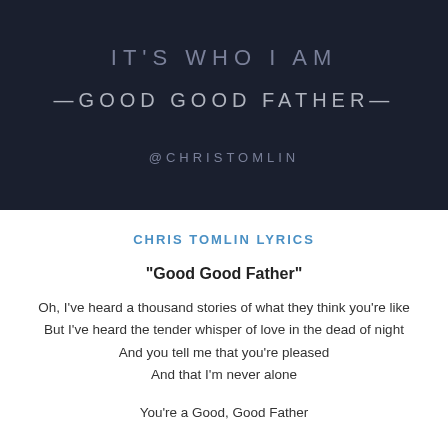[Figure (illustration): Dark navy background image with text: partial title 'IT'S WHO I AM' at top, '—GOOD GOOD FATHER—' in center, '@CHRISTOMLIN' at bottom]
CHRIS TOMLIN LYRICS
"Good Good Father"
Oh, I've heard a thousand stories of what they think you're like
But I've heard the tender whisper of love in the dead of night
And you tell me that you're pleased
And that I'm never alone
You're a Good, Good Father